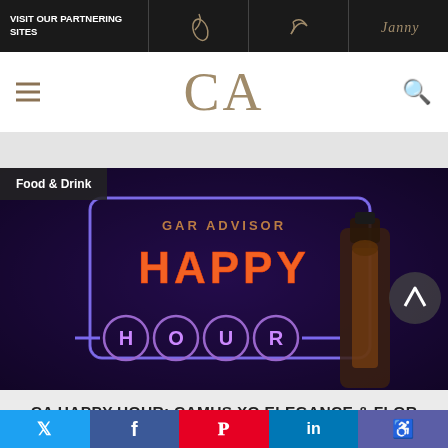VISIT OUR PARTNERING SITES
[Figure (logo): CA (Cigar Advisor) site logo with hamburger menu and search icon]
[Figure (photo): Neon sign reading 'GAR ADVISOR HAPPY HOUR' with cognac bottle, Food & Drink category tag overlay, and navigation arrow]
CA HAPPY HOUR: CAMUS XO ELEGANCE & FLOR DE LAS ANTILLAS CIGAR PAIRING
Twitter | Facebook | Pinterest | LinkedIn | Accessibility